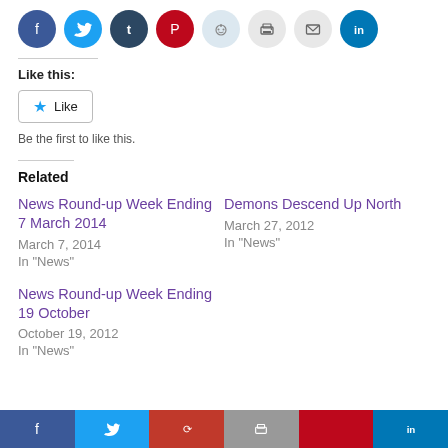[Figure (other): Row of social media share icon buttons: Facebook (blue), Twitter (light blue), Tumblr (dark blue), Pinterest (red), Reddit (light blue), Print (grey), Email (grey), LinkedIn (teal blue)]
Like this:
[Figure (other): WordPress Like button widget with star icon and 'Like' label, followed by text 'Be the first to like this.']
Related
News Round-up Week Ending 7 March 2014
March 7, 2014
In "News"
Demons Descend Up North
March 27, 2012
In "News"
News Round-up Week Ending 19 October
October 19, 2012
In "News"
[Figure (other): Footer bar with social media icon segments: Facebook blue, Twitter blue, dark red, grey, red, LinkedIn blue]